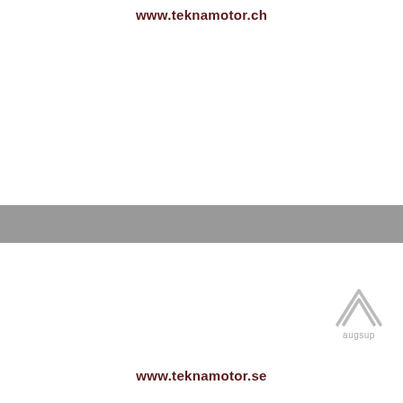www.teknamotor.ch
[Figure (logo): Augsup logo: two nested chevron/caret shapes (upward-pointing triangles/arrows) in light gray, with the text 'augsup' below in gray]
www.teknamotor.se